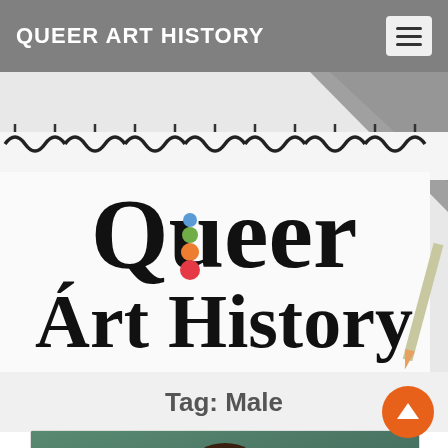QUEER ART HISTORY
[Figure (logo): Queer Art History logo on spiral notebook background. Large serif text reads 'Queer Art History' with colorful dots inside the Q. The background shows a spiral-bound sketchbook with a pencil visible at the right edge.]
Tag: Male
[Figure (photo): Partial photo of a portrait painting, showing the top of a person's head and shoulders, appearing to be a classical-style portrait with dark hair against a teal/green background.]